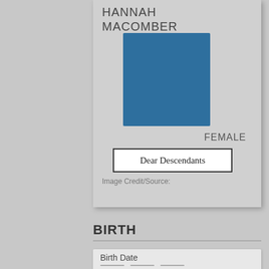HANNAH MACOMBER
[Figure (photo): Blue placeholder image representing a person photo for Hannah Macomber]
FEMALE
Dear Descendants
Image Credit/Source:
BIRTH
Birth Date